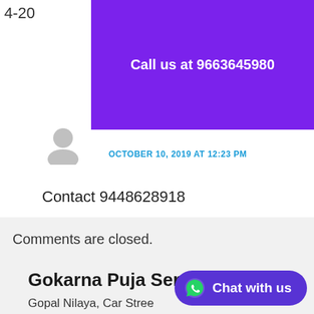[Figure (other): Purple banner with bold white text: Call us at 9663645980]
OCTOBER 10, 2019 AT 12:23 PM
Contact 9448628918
Comments are closed.
Gokarna Puja Services
Gopal Nilaya, Car Stree
India
[Figure (other): Chat with us WhatsApp button (rounded pill, purple background)]